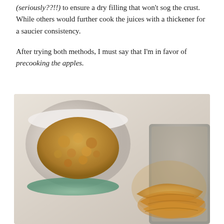(seriously??!!) to ensure a dry filling that won't sog the crust.  While others would further cook the juices with a thickener for a saucier consistency.
After trying both methods, I must say that I'm in favor of precooking the apples.
[Figure (photo): A close-up food photo showing a bowl of cooked crumble topping (brown, caramelized) in a white bowl on the left, and a glass baking dish with sliced cooked apples in caramel sauce on the right, all on a light grey/white marble surface.]